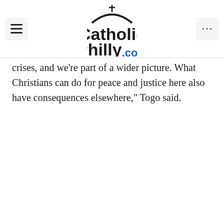CatholicPhilly.com
crises, and we're part of a wider picture. What Christians can do for peace and justice here also have consequences elsewhere,” Togo said.